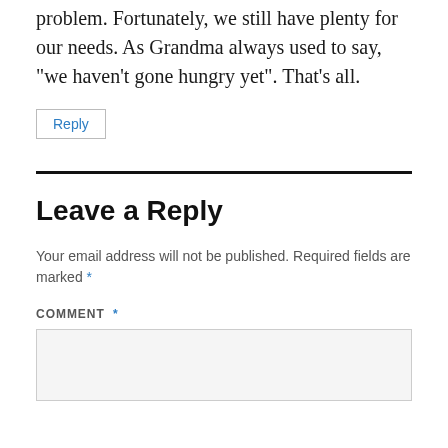problem. Fortunately, we still have plenty for our needs. As Grandma always used to say, "we haven't gone hungry yet". That's all.
Reply
Leave a Reply
Your email address will not be published. Required fields are marked *
COMMENT *